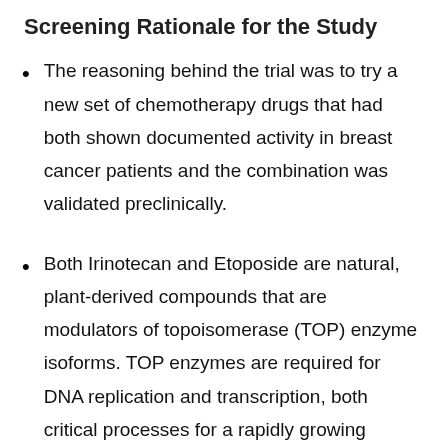Screening Rationale for the Study
The reasoning behind the trial was to try a new set of chemotherapy drugs that had both shown documented activity in breast cancer patients and the combination was validated preclinically.
Both Irinotecan and Etoposide are natural, plant-derived compounds that are modulators of topoisomerase (TOP) enzyme isoforms. TOP enzymes are required for DNA replication and transcription, both critical processes for a rapidly growing cancer cell. Interfering with TOP action causes DNA strand breaks, DNA damage and